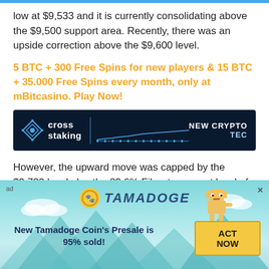low at $9,533 and it is currently consolidating above the $9,500 support area. Recently, there was an upside correction above the $9,600 level.
5 BTC + 300 Free Spins for new players & 15 BTC + 35.000 Free Spins every month, only at mBitcasino. Play Now!
[Figure (screenshot): Cross Staking banner advertisement showing logo, chart area, and 'NEW CRYPTO TEC' text on dark blue background]
However, the upward move was capped by the $9,720 level plus the 23.6% Fib retracement level of
[Figure (infographic): Tamadoge advertisement banner with teal background, Tamadoge coin logo, dog mascot, text 'New Tamadoge Coin's Presale is 95% sold!' and 'ACT NOW' button]